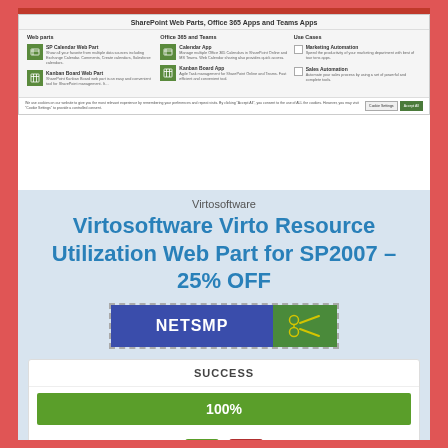[Figure (screenshot): Screenshot of Virtosoftware website showing SharePoint Web Parts, Office 365 Apps and Teams Apps with web parts menu including SP Calendar Web Part, Kanban Board Web Part, Office 365 and Teams section with Calendar App and Kanban Board App, and Use Cases section with Marketing Automation and Sales Automation. A cookie consent bar is shown at the bottom of the screenshot.]
Virtosoftware
Virtosoftware Virto Resource Utilization Web Part for SP2007 – 25% OFF
[Figure (other): Coupon code box with dashed border, showing 'NETSMP' in blue background and scissors icon on green background]
| SUCCESS |
| --- |
| 100% |
[Figure (other): Thumbs up icon (green) and thumbs down icon (red) for rating]